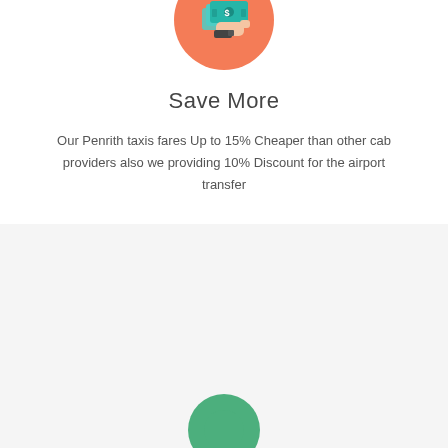[Figure (illustration): Orange circle with hand holding money/cash bills icon]
Save More
Our Penrith taxis fares Up to 15% Cheaper than other cab providers also we providing 10% Discount for the airport transfer
Compare UK Cabs Fares in Few Clicks
[Figure (illustration): Green circle icon partially visible at bottom]